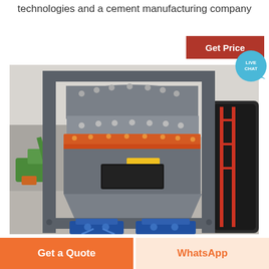technologies and a cement manufacturing company
[Figure (photo): Large industrial vertical roller mill or grinding machine with grey steel housing, orange/red ring collar, blue motor/drive unit at the base, mounted on a steel frame structure inside a factory warehouse. A green excavator and other equipment visible in the background.]
Get Price
LIVE CHAT
Get a Quote
WhatsApp